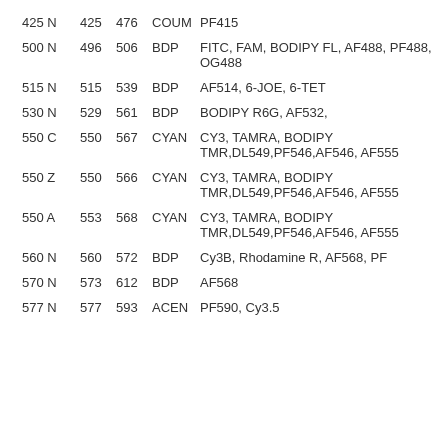| 425 N | 425 | 476 | COUM | PF415 |
| 500 N | 496 | 506 | BDP | FITC, FAM, BODIPY FL, AF488, PF488, OG488 |
| 515 N | 515 | 539 | BDP | AF514, 6-JOE, 6-TET |
| 530 N | 529 | 561 | BDP | BODIPY R6G, AF532, |
| 550 C | 550 | 567 | CYAN | CY3, TAMRA, BODIPY TMR,DL549,PF546,AF546, AF555 |
| 550 Z | 550 | 566 | CYAN | CY3, TAMRA, BODIPY TMR,DL549,PF546,AF546, AF555 |
| 550 A | 553 | 568 | CYAN | CY3, TAMRA, BODIPY TMR,DL549,PF546,AF546, AF555 |
| 560 N | 560 | 572 | BDP | Cy3B, Rhodamine R, AF568, PF |
| 570 N | 573 | 612 | BDP | AF568 |
| 577 N | 577 | 593 | ACEN | PF590, Cy3.5 |